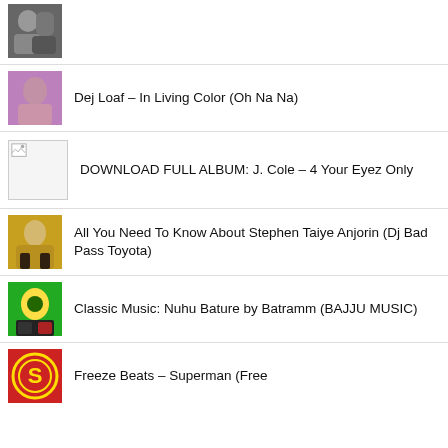(no title shown — black and white photo thumbnail)
Dej Loaf – In Living Color (Oh Na Na)
DOWNLOAD FULL ALBUM: J. Cole – 4 Your Eyez Only
All You Need To Know About Stephen Taiye Anjorin (Dj Bad Pass Toyota)
Classic Music: Nuhu Bature by Batramm (BAJJU MUSIC)
Freeze Beats – Superman (Free